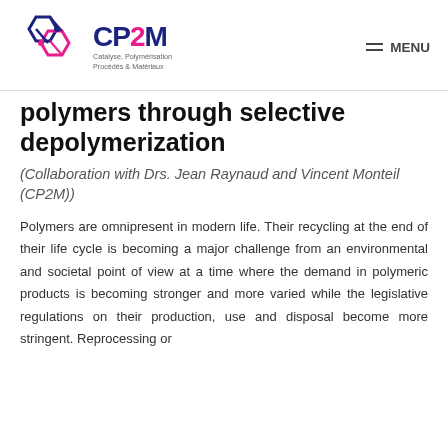[Figure (logo): CP2M logo — hexagonal molecular structure icon in dark blue and pink, with text 'CP2M' in bold dark blue with pink '2', and subtitle 'Catalyse, Polymérisation Procédés & Matériaux']
polymers through selective depolymerization
(Collaboration with Drs. Jean Raynaud and Vincent Monteil (CP2M))
Polymers are omnipresent in modern life. Their recycling at the end of their life cycle is becoming a major challenge from an environmental and societal point of view at a time where the demand in polymeric products is becoming stronger and more varied while the legislative regulations on their production, use and disposal become more stringent. Reprocessing or